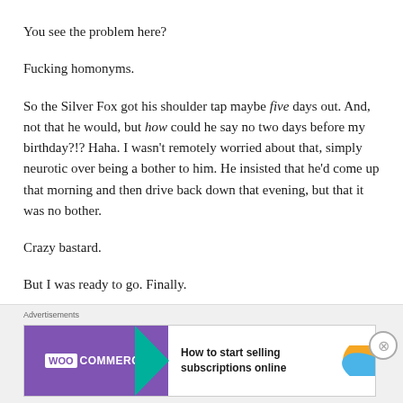You see the problem here?
Fucking homonyms.
So the Silver Fox got his shoulder tap maybe five days out. And, not that he would, but how could he say no two days before my birthday?!? Haha. I wasn't remotely worried about that, simply neurotic over being a bother to him. He insisted that he'd come up that morning and then drive back down that evening, but that it was no bother.
Crazy bastard.
But I was ready to go. Finally.
The “Let’s Do It”
[Figure (other): WooCommerce advertisement banner with teal arrow, orange and blue leaf shapes. Text: How to start selling subscriptions online]